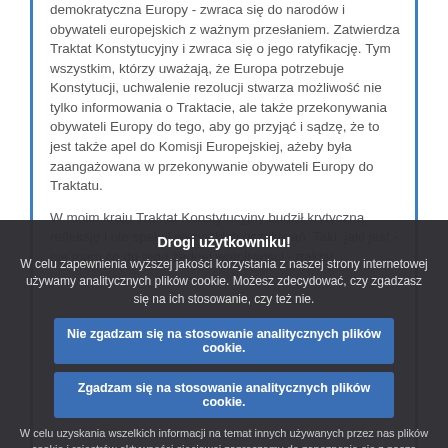demokratyczna Europy - zwraca się do narodów i obywateli europejskich z ważnym przesłaniem. Zatwierdza Traktat Konstytucyjny i zwraca się o jego ratyfikację. Tym wszystkim, którzy uważają, że Europa potrzebuje Konstytucji, uchwalenie rezolucji stwarza możliwość nie tylko informowania o Traktacie, ale także przekonywania obywateli Europy do tego, aby go przyjąć i sądzę, że to jest także apel do Komisji Europejskiej, ażeby była zaangażowana w przekonywanie obywateli Europy do Traktatu.
W moim kraju Traktat Konstytucyjny budził krytyczną refleksję i nie spełnił wszystkich oczekiwań. Taki, jaki jest - nie mam co do tego żadnej wątpliwości - traktat...
Drogi użytkowniku!
W celu zapewnienia wyższej jakości korzystania z naszej strony internetowej używamy analitycznych plików cookie. Możesz zdecydować, czy zgadzasz się na ich stosowanie, czy też nie.
Nie zgadzam się na stosowanie analitycznych plików cookie.
Zgadzam się na stosowanie analitycznych plików cookie.
W celu uzyskania wszelkich informacji na temat innych używanych przez nas plików cookie i rejestrów aktywności sieciowej zapraszamy do zapoznania się z naszą Polityką ochrony prywatności , naszą Polityką dotyczącą plików cookie i naszym Wykazem plików cookie.